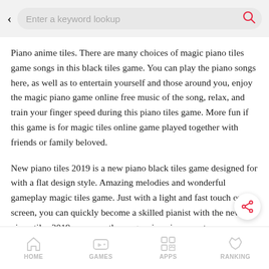Enter a keyword lookup
Piano anime tiles. There are many choices of magic piano tiles game songs in this black tiles game. You can play the piano songs here, as well as to entertain yourself and those around you, enjoy the magic piano game online free music of the song, relax, and train your finger speed during this piano tiles game. More fun if this game is for magic tiles online game played together with friends or family beloved.
New piano tiles 2019 is a new piano black tiles game designed for with a flat design style. Amazing melodies and wonderful gameplay magic tiles game. Just with a light and fast touch on the screen, you can quickly become a skilled pianist with the new piano tiles 2019 no worse than a genuine piano master.
Tiles dancing ball hop for free relax your soul with beautiful piano sounds & play your favorite songs like tiles hop game download a
HOME   GAMES   APPS   RANKING